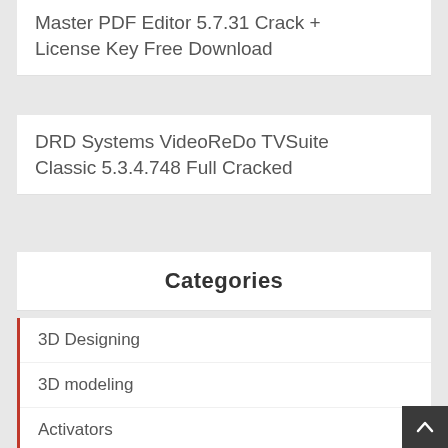Master PDF Editor 5.7.31 Crack + License Key Free Download
DRD Systems VideoReDo TVSuite Classic 5.3.4.748 Full Cracked
Categories
3D Designing
3D modeling
Activators
Android
Antivirus
Audio Processing
Backup